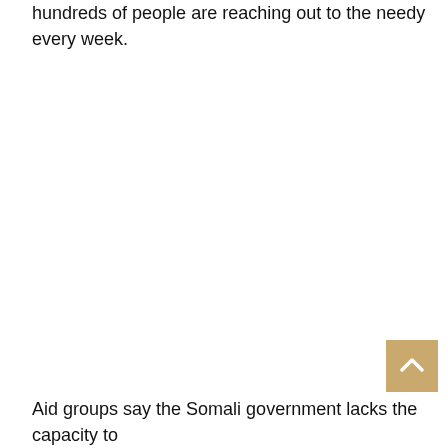hundreds of people are reaching out to the needy every week.
[Figure (other): Scroll-to-top button: a square button with tan/gold background and a white upward-pointing chevron arrow]
Aid groups say the Somali government lacks the capacity to